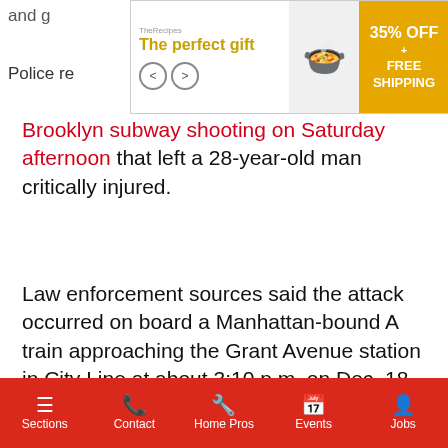[Figure (screenshot): Advertisement banner for 'The perfect gift' showing a bowl of food, navigation arrows, and a 35% OFF + FREE SHIPPING promo badge]
Brooklyn subway shooting on Saturday afternoon that left a 28-year-old man critically injured.
Law enforcement sources said the attack occurred on board a Manhattan-bound A train approaching the Grant Avenue station in City Line at about 3:10 p.m. on Dec. 18.
[Figure (screenshot): Video popup overlay: Canada, Germany start hydrogen shipm... showing two men in suits signing documents, with German flag in background, mute button, loading spinner, and close button]
said, the gunman got an apparent glance. It's glance.
ich quickly escalated into rces said.
he face, cops said, the
Sections   Contact   Home Pros   Events   Jobs